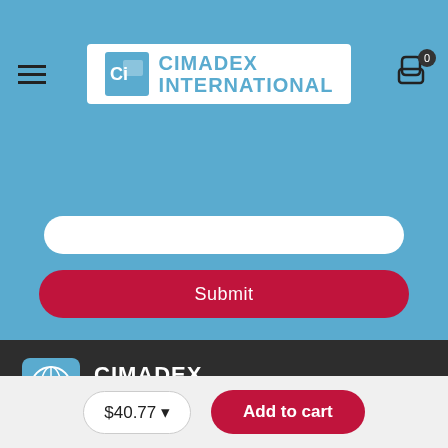CIMADEX INTERNATIONAL
[Figure (screenshot): White input field]
[Figure (screenshot): Red Submit button]
[Figure (logo): Cimadex International footer logo with globe icon]
Got questions? Call us 24/7!
310-400-9156
[Figure (screenshot): Social media icons: Facebook, Twitter, Instagram, LinkedIn]
$40.77
Add to cart